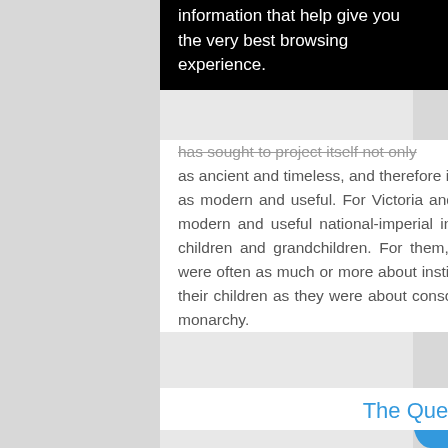information that help give you the very best browsing experience.
has sought to project itself not only as ancient and timeless, and therefore indispensable to national identity, but also as modern and useful. For Victoria and Albert as well, making the monarchy a modern and useful national-imperial institution informed how they raised their children and grandchildren. For them, as this chapter shows, the royal tours were often as much or more about instilling the importance of national service in their children as they were about consciously embracing the imperial role of the monarchy.
The Queen/Mother